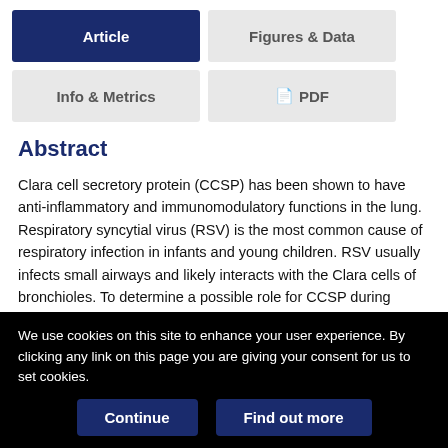Article
Figures & Data
Info & Metrics
PDF
Abstract
Clara cell secretory protein (CCSP) has been shown to have anti-inflammatory and immunomodulatory functions in the lung. Respiratory syncytial virus (RSV) is the most common cause of respiratory infection in infants and young children. RSV usually infects small airways and likely interacts with the Clara cells of bronchioles. To determine a possible role for CCSP during acute
We use cookies on this site to enhance your user experience. By clicking any link on this page you are giving your consent for us to set cookies.
Continue
Find out more